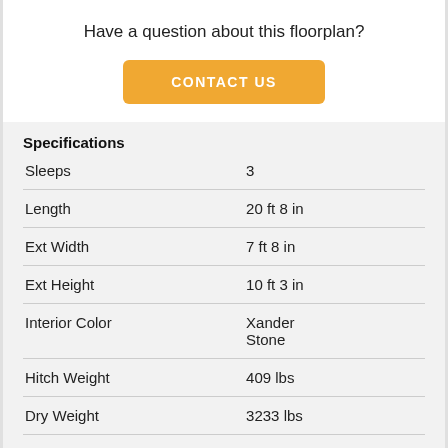Have a question about this floorplan?
[Figure (other): Orange 'CONTACT US' button]
Specifications
|  |  |
| --- | --- |
| Sleeps | 3 |
| Length | 20 ft 8 in |
| Ext Width | 7 ft 8 in |
| Ext Height | 10 ft 3 in |
| Interior Color | Xander Stone |
| Hitch Weight | 409 lbs |
| Dry Weight | 3233 lbs |
| Cargo Weight | 1176 lbs |
| Fresh Water Capacity | 31 gals |